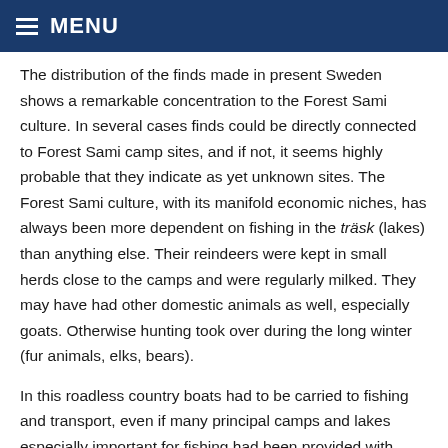MENU
The distribution of the finds made in present Sweden shows a remarkable concentration to the Forest Sami culture. In several cases finds could be directly connected to Forest Sami camp sites, and if not, it seems highly probable that they indicate as yet unknown sites. The Forest Sami culture, with its manifold economic niches, has always been more dependent on fishing in the träsk (lakes) than anything else. Their reindeers were kept in small herds close to the camps and were regularly milked. They may have had other domestic animals as well, especially goats. Otherwise hunting took over during the long winter (fur animals, elks, bears).
In this roadless country boats had to be carried to fishing and transport, even if many principal camps and lakes especially important for fishing had been provided with boats built only for this permanent locality. During the transports along the river valleys it would anyway be necessary to carry or haul boats at the rapids and between the watersheds on portages